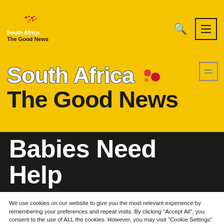South Africa The Good News
[Figure (screenshot): South Africa The Good News website banner showing the site logo in yellow header with search and hamburger menu icons, overlaid large text 'South Africa The Good News' in yellow/black, followed by a dark hero section with 'Babies Need Help' title, and a cookie consent popup with 'Cookie Settings' and 'Accept All' buttons]
Babies Need Help
We use cookies on our website to give you the most relevant experience by remembering your preferences and repeat visits. By clicking “Accept All”, you consent to the use of ALL the cookies. However, you may visit "Cookie Settings" to provide a controlled consent.